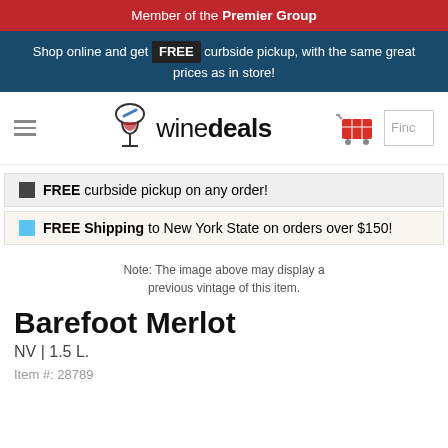Member of the Premier Group
Shop online and get FREE curbside pickup, with the same great prices as in store!
[Figure (logo): winedeals logo with wine glass icon and shopping cart icon]
FREE curbside pickup on any order!
FREE Shipping to New York State on orders over $150!
Note: The image above may display a previous vintage of this item.
Barefoot Merlot
NV | 1.5 L.
Item #: 28789